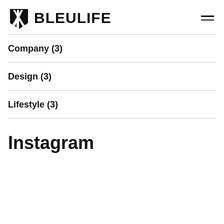[Figure (logo): BLEULIFE logo with a stylized shield/badge icon on the left and bold text 'BLEULIFE' on the right]
Company (3)
Design (3)
Lifestyle (3)
Instagram